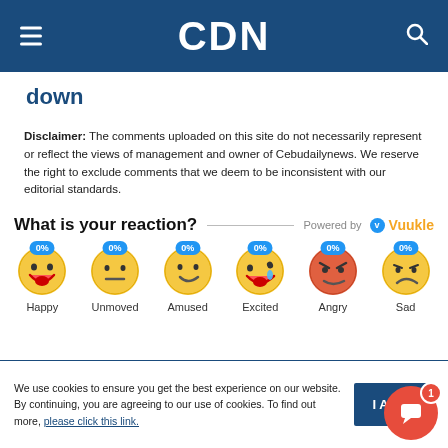CDN
down
Disclaimer: The comments uploaded on this site do not necessarily represent or reflect the views of management and owner of Cebudailynews. We reserve the right to exclude comments that we deem to be inconsistent with our editorial standards.
What is your reaction?
[Figure (infographic): Six emoji reaction buttons each showing 0%: Happy, Unmoved, Amused, Excited, Angry, Sad]
We use cookies to ensure you get the best experience on our website. By continuing, you are agreeing to our use of cookies. To find out more, please click this link.